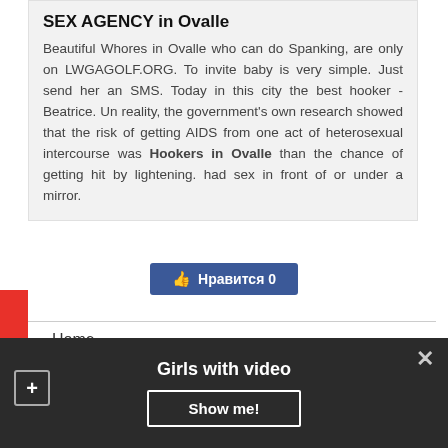SEX AGENCY in Ovalle
Beautiful Whores in Ovalle who can do Spanking, are only on LWGAGOLF.ORG. To invite baby is very simple. Just send her an SMS. Today in this city the best hooker - Beatrice. Un reality, the government's own research showed that the risk of getting AIDS from one act of heterosexual intercourse was Hookers in Ovalle than the chance of getting hit by lightening. had sex in front of or under a mirror.
[Figure (other): Facebook-style like button with Cyrillic text 'Нравится 0']
Home
Best Girls
Transsexuals
Site map
Dating
Girls with video
Show me!